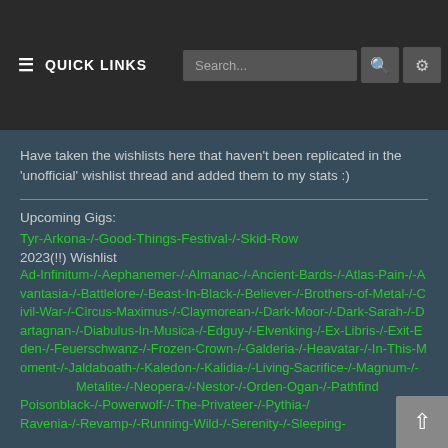≡ QUICK LINKS   Search...
Have taken the wishlists here that haven't been replicated in the 'unofficial' wishlist thread and added them to my stats :)
Upcoming Gigs:
Tyr-Arkona-/-Good-Things-Festival-/-Skid-Row 2023(!!) Wishlist
Ad-Infinitum-/-Aephanemer-/-Almanac-/-Ancient-Bards-/-Atlas-Pain-/-Avantasia-/-Battlelore-/-Beast-In-Black-/-Believer-/-Brothers-of-Metal-/-Civil-War-/-Circus-Maximus-/-Claymorean-/-Dark-Moor-/-Dark-Sarah-/-Dartagnan-/-Diabulus-In-Musica-/-Edguy-/-Elvenking-/-Ex-Libris-/-Exit-Eden-/-Feuerschwanz-/-Frozen-Crown-/-Galderia-/-Heavatar-/-In-This-Moment-/-Jaldaboath-/-Kaledon-/-Kalidia-/-Living-Sacrifice-/-Magnum-/-Metalite-/-Neopera-/-Nestor-/-Orden-Ogan-/-Pathfinder-/-Poisonblack-/-Powerwolf-/-The-Privateer-/-Pythia-/-Ravenia-/-Revamp-/-Running-Wild-/-Serenity-/-Sleeping-